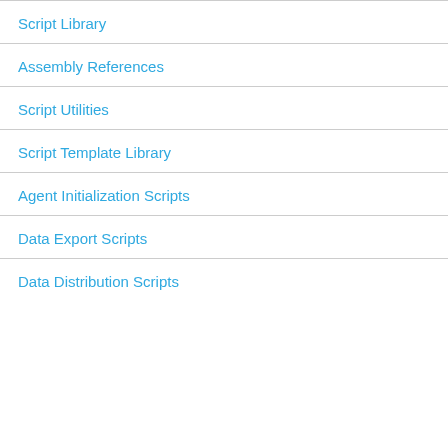Script Library
Assembly References
Script Utilities
Script Template Library
Agent Initialization Scripts
Data Export Scripts
Data Distribution Scripts